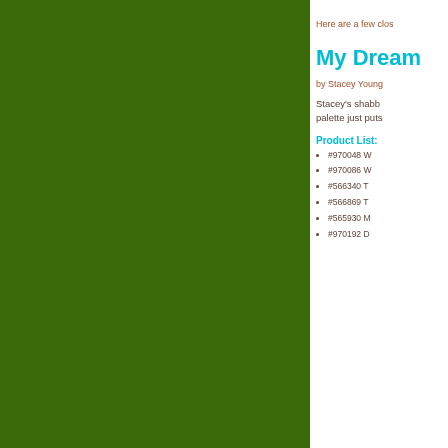[Figure (illustration): Large dark green rectangular panel on the left side of the page]
Here are a few clos
My Dream
by Stacey Young
Stacey's shabb palette just puts
Product List:
#970048 W
#970086 W
#566340 T
#566869 T
#565930 M
#970192 D